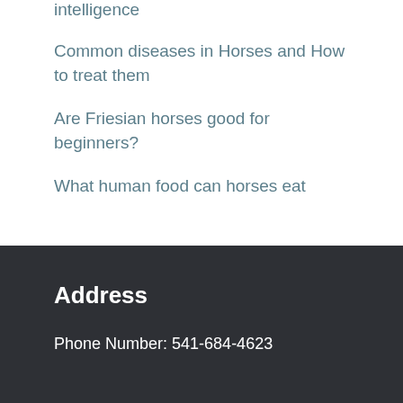intelligence
Common diseases in Horses and How to treat them
Are Friesian horses good for beginners?
What human food can horses eat
Address
Phone Number: 541-684-4623